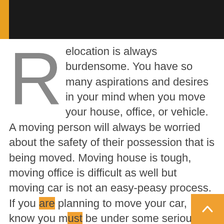Relocation is always burdensome. You have so many aspirations and desires in your mind when you move your house, office, or vehicle. A moving person will always be worried about the safety of their possession that is being moved. Moving house is tough, moving office is difficult as well but moving car is not an easy-peasy process. If you are planning to move your car, I know you must be under some serious stress. Car